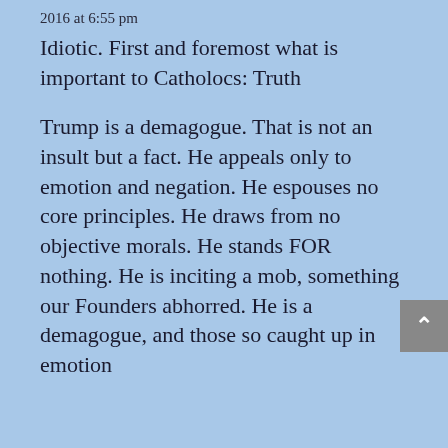2016 at 6:55 pm
Idiotic. First and foremost what is important to Catholocs: Truth
Trump is a demagogue. That is not an insult but a fact. He appeals only to emotion and negation. He espouses no core principles. He draws from no objective morals. He stands FOR nothing. He is inciting a mob, something our Founders abhorred. He is a demagogue, and those so caught up in emotion